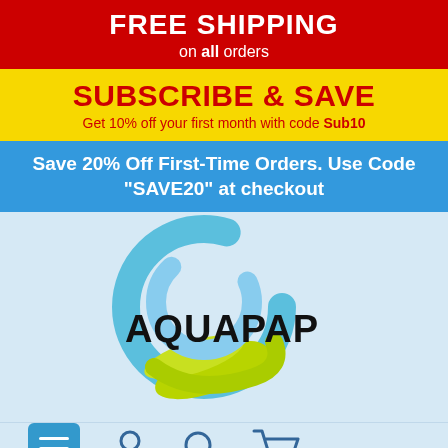FREE SHIPPING on all orders
SUBSCRIBE & SAVE
Get 10% off your first month with code Sub10
Save 20% Off First-Time Orders. Use Code "SAVE20" at checkout
[Figure (logo): AQUAPAP brand logo with blue and green swirl circle graphic and bold black text]
[Figure (infographic): Bottom navigation bar with hamburger menu icon (teal square), person/account icon, search magnifying glass icon, and shopping cart icon]